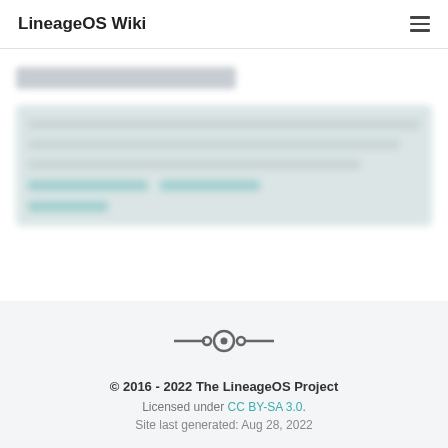LineageOS Wiki
[Figure (screenshot): Blurred/redacted content area showing a title and a content block with links, all blurred for privacy]
[Figure (logo): LineageOS logo — circular icon with lines extending left and right]
© 2016 - 2022 The LineageOS Project
Licensed under CC BY-SA 3.0.
Site last generated: Aug 28, 2022